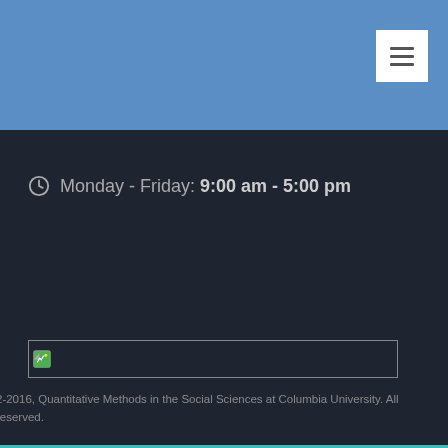[Figure (screenshot): Blue navigation header bar with white hamburger menu button in top right corner]
Monday - Friday: 9:00 am - 5:00 pm
[Figure (photo): Broken image placeholder with border]
2-2016, Quantitative Methods in the Social Sciences at Columbia University. All reserved.